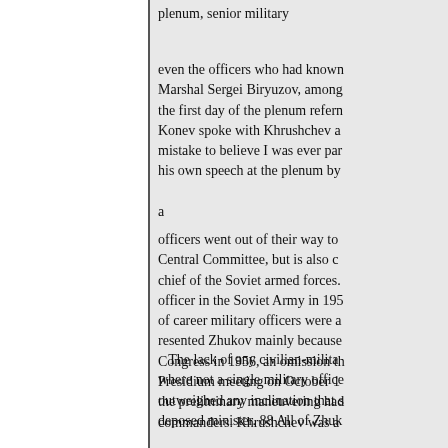plenum, senior military
even the officers who had known Marshal Sergei Biryuzov, among the first day of the plenum Konev spoke with Khrushchev a mistake to believe I was ever par his own speech at the plenum by a
officers went out of their way to Central Committee, but is also chief of the Soviet armed forces. officer in the Soviet Army in 195 of career military officers were a resented Zhukov mainly because Congress in 1956, an omission th Presidium meeting on October 1 the preliminary maneuvering had commanders. Khrushchev was a
The lack of any civilian-milita where not a single military office outweighed any inclination that s deposed minister. 88 All of Zhuk